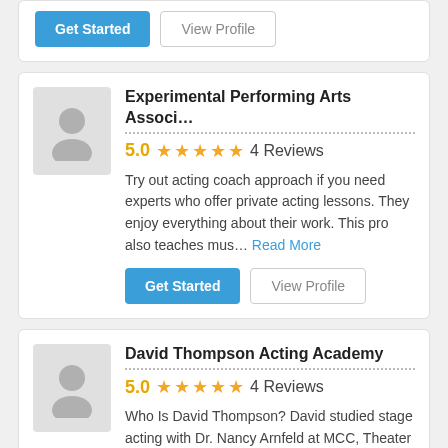[Figure (other): Partial top card with Get Started and View Profile buttons]
Experimental Performing Arts Associ...
5.0 ★★★★★ 4 Reviews
Try out acting coach approach if you need experts who offer private acting lessons. They enjoy everything about their work. This pro also teaches mus... Read More
David Thompson Acting Academy
5.0 ★★★★★ 4 Reviews
Who Is David Thompson? David studied stage acting with Dr. Nancy Arnfeld at MCC, Theater studies at Wayne State University and Voice at Oakland Unive... Read More